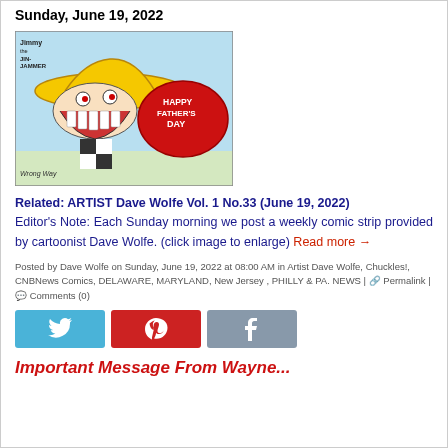Sunday, June 19, 2022
[Figure (illustration): Comic strip by Dave Wolfe - Jimmy the Jinjammer with Happy Father's Day speech bubble and Wrong Way caption]
Related: ARTIST Dave Wolfe Vol. 1 No.33 (June 19, 2022) Editor's Note: Each Sunday morning we post a weekly comic strip provided by cartoonist Dave Wolfe. (click image to enlarge) Read more →
Posted by Dave Wolfe on Sunday, June 19, 2022 at 08:00 AM in Artist Dave Wolfe, Chuckles!, CNBNews Comics, DELAWARE, MARYLAND, New Jersey , PHILLY & PA. NEWS | Permalink | Comments (0)
[Figure (infographic): Social share buttons: Twitter (blue), Pinterest (red), Facebook (grey)]
Important Message From Wayne...